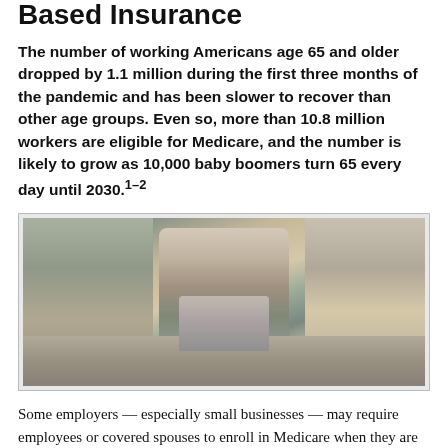Based Insurance
The number of working Americans age 65 and older dropped by 1.1 million during the first three months of the pandemic and has been slower to recover than other age groups. Even so, more than 10.8 million workers are eligible for Medicare, and the number is likely to grow as 10,000 baby boomers turn 65 every day until 2030.1–2
[Figure (photo): A middle-aged or older person sitting at a desk working on a laptop computer in a modern home office environment]
Some employers — especially small businesses — may require employees or covered spouses to enroll in Medicare when they are eligible in order to retain